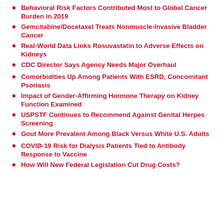Behavioral Risk Factors Contributed Most to Global Cancer Burden in 2019
Gemcitabine/Docetaxel Treats Nonmuscle-Invasive Bladder Cancer
Real-World Data Links Rosuvastatin to Adverse Effects on Kidneys
CDC Director Says Agency Needs Major Overhaul
Comorbidities Up Among Patients With ESRD, Concomitant Psoriasis
Impact of Gender-Affirming Hormone Therapy on Kidney Function Examined
USPSTF Continues to Recommend Against Genital Herpes Screening
Gout More Prevalent Among Black Versus White U.S. Adults
COVID-19 Risk for Dialysis Patients Tied to Antibody Response to Vaccine
How Will New Federal Legislation Cut Drug Costs?